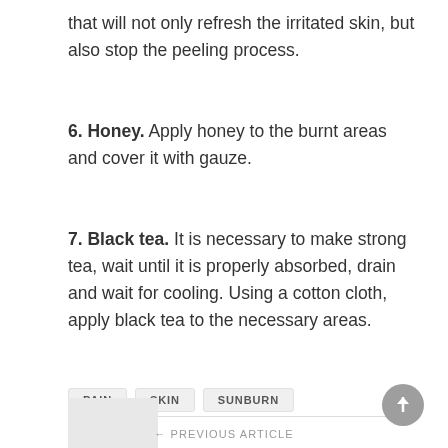that will not only refresh the irritated skin, but also stop the peeling process.
6. Honey. Apply honey to the burnt areas and cover it with gauze.
7. Black tea. It is necessary to make strong tea, wait until it is properly absorbed, drain and wait for cooling. Using a cotton cloth, apply black tea to the necessary areas.
PAIN  SKIN  SUNBURN
← PREVIOUS ARTICLE